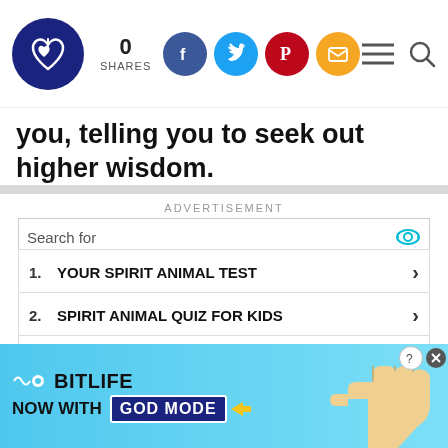0 SHARES — social share icons (Facebook, Twitter, Pinterest, Email)
you, telling you to seek out higher wisdom.
ADVERTISEMENT
Search for
1. YOUR SPIRIT ANIMAL TEST
2. SPIRIT ANIMAL QUIZ FOR KIDS
3. COMMON SPIRIT ANIMALS
4. SPIRIT ANIMAL TOTEMS
5. SPIRITUAL ANIMAL MEANINGS
[Figure (illustration): BitLife 'Now with GOD MODE' advertisement banner with cyan background and pointing hand illustration]